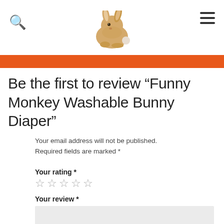[Search icon] [Bunny image] [Menu icon]
Be the first to review “Funny Monkey Washable Bunny Diaper”
Your email address will not be published. Required fields are marked *
Your rating *
☆ ☆ ☆ ☆ ☆
Your review *